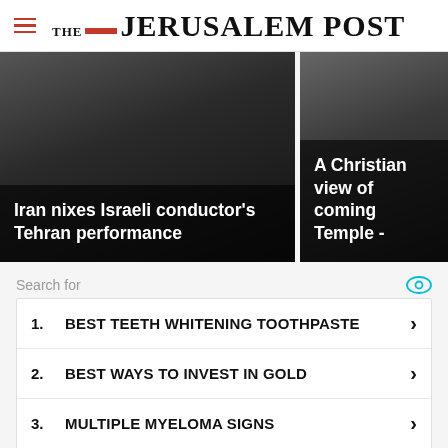THE JERUSALEM POST
[Figure (photo): News card with dark image: Iran nixes Israeli conductor's Tehran performance]
[Figure (photo): News card with dark image: A Christian view of coming Temple -]
Search for
1. BEST TEETH WHITENING TOOTHPASTE
2. BEST WAYS TO INVEST IN GOLD
3. MULTIPLE MYELOMA SIGNS
Advertisement